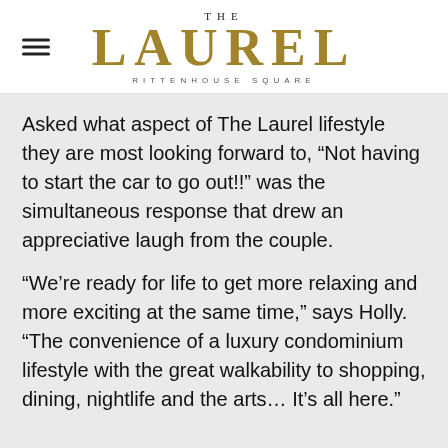THE LAUREL RITTENHOUSE SQUARE
Asked what aspect of The Laurel lifestyle they are most looking forward to, “Not having to start the car to go out!!” was the simultaneous response that drew an appreciative laugh from the couple.
“We’re ready for life to get more relaxing and more exciting at the same time,” says Holly. “The convenience of a luxury condominium lifestyle with the great walkability to shopping, dining, nightlife and the arts… It’s all here.”
“And this being the only new construction